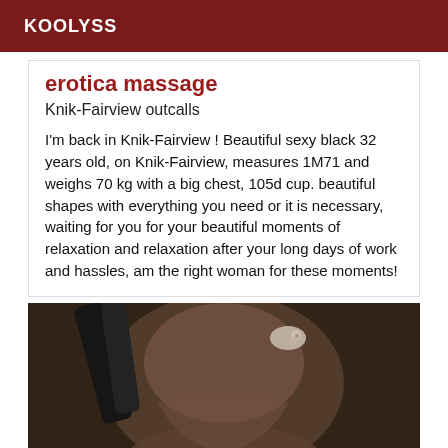KOOLYSS
erotica massage
Knik-Fairview outcalls
I'm back in Knik-Fairview ! Beautiful sexy black 32 years old, on Knik-Fairview, measures 1M71 and weighs 70 kg with a big chest, 105d cup. beautiful shapes with everything you need or it is necessary, waiting for you for your beautiful moments of relaxation and relaxation after your long days of work and hassles, am the right woman for these moments!
[Figure (photo): Close-up photo of a person from the neck/chin area]